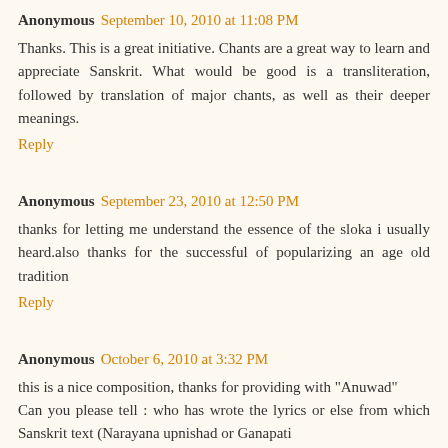Anonymous September 10, 2010 at 11:08 PM
Thanks. This is a great initiative. Chants are a great way to learn and appreciate Sanskrit. What would be good is a transliteration, followed by translation of major chants, as well as their deeper meanings.
Reply
Anonymous September 23, 2010 at 12:50 PM
thanks for letting me understand the essence of the sloka i usually heard.also thanks for the successful of popularizing an age old tradition
Reply
Anonymous October 6, 2010 at 3:32 PM
this is a nice composition, thanks for providing with "Anuwad"
Can you please tell : who has wrote the lyrics or else from which Sanskrit text (Narayana upnishad or Ganapati upnishad or something else)